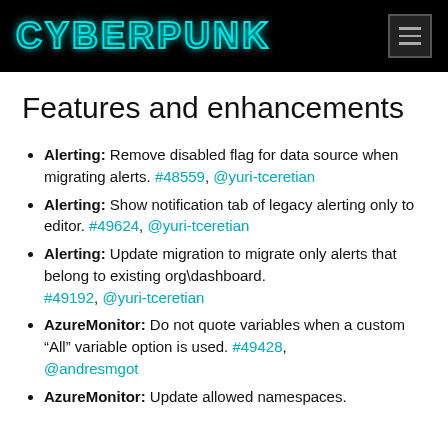CYBERPUNK
Features and enhancements
Alerting: Remove disabled flag for data source when migrating alerts. #48559, @yuri-tceretian
Alerting: Show notification tab of legacy alerting only to editor. #49624, @yuri-tceretian
Alerting: Update migration to migrate only alerts that belong to existing org\dashboard. #49192, @yuri-tceretian
AzureMonitor: Do not quote variables when a custom “All” variable option is used. #49428, @andresmgot
AzureMonitor: Update allowed namespaces.